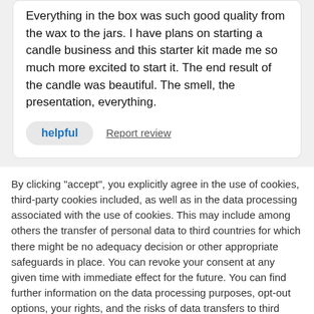Everything in the box was such good quality from the wax to the jars. I have plans on starting a candle business and this starter kit made me so much more excited to start it. The end result of the candle was beautiful. The smell, the presentation, everything.
helpful   Report review
By clicking "accept", you explicitly agree in the use of cookies, third-party cookies included, as well as in the data processing associated with the use of cookies. This may include among others the transfer of personal data to third countries for which there might be no adequacy decision or other appropriate safeguards in place. You can revoke your consent at any given time with immediate effect for the future. You can find further information on the data processing purposes, opt-out options, your rights, and the risks of data transfers to third countries here.
ACCEPT